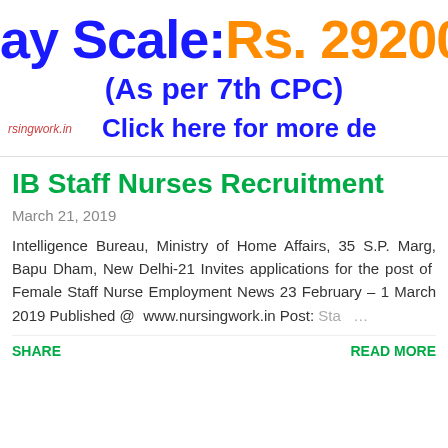ay Scale: Rs. 29200-9230
(As per 7th CPC)
rsingwork.in   Click here for more de
IB Staff Nurses Recruitment
March 21, 2019
Intelligence Bureau, Ministry of Home Affairs, 35 S.P. Marg, Bapu Dham, New Delhi-21 Invites applications for the post of Female Staff Nurse Employment News 23 February – 1 March 2019 Published @ www.nursingwork.in Post: Sta …
SHARE
READ MORE